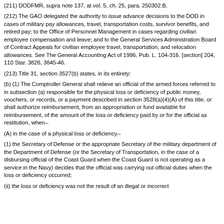(211) DODFMR, supra note 137, at vol. 5, ch. 25, para. 250302.B.
(212) The GAO delegated the authority to issue advance decisions to the DOD in cases of military pay allowances, travel, transportation costs, survivor benefits, and retired pay; to the Office of Personnel Management in cases regarding civilian employee compensation and leave; and to the General Services Administration Board of Contract Appeals for civilian employee travel, transportation, and relocation allowances. See The General Accounting Act of 1996, Pub. L. 104-316. [section] 204, 110 Star. 3826, 3845-46.
(213) Title 31, section 3527(b) states, in its entirety:
(b) (1) The Comptroller General shall relieve an official of the armed forces referred to in subsection (a) responsible for the physical loss or deficiency of public money, vouchers, or records, or a payment described in section 3528(a)(4)(A) of this title, or shall authorize reimbursement, from an appropriation or fund available for reimbursement, of the amount of the loss or deficiency paid by or for the official as restitution, when--
(A) in the case of a physical loss or deficiency--
(1) the Secretary of Defense or the appropriate Secretary of the military department of the Department of Defense (or the Secretary of Transportation, in the case of a disbursing official of the Coast Guard when the Coast Guard is not operating as a service in the Navy) decides that the official was carrying out official duties when the loss or deficiency occurred;
(ii) the loss or deficiency was not the result of an illegal or incorrect